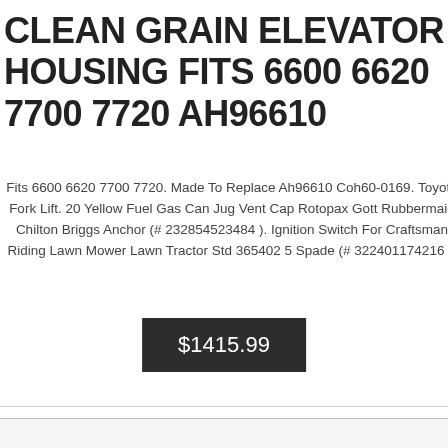CLEAN GRAIN ELEVATOR HOUSING FITS 6600 6620 7700 7720 AH96610
Fits 6600 6620 7700 7720. Made To Replace Ah96610 Coh60-0169. Toyota Fork Lift. 20 Yellow Fuel Gas Can Jug Vent Cap Rotopax Gott Rubbermaid Chilton Briggs Anchor (# 232854523484 ). Ignition Switch For Craftsman Riding Lawn Mower Lawn Tractor Std 365402 5 Spade (# 322401174216 ).
$1415.99
[Figure (photo): Product photo of a clean grain elevator housing part, metallic component with screw thread and hook, labeled Cleveland Equipment Ltd]